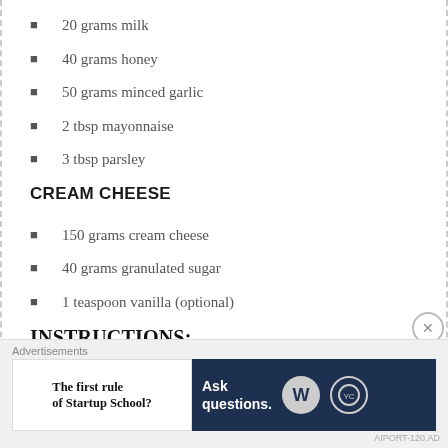20 grams milk
40 grams honey
50 grams minced garlic
2 tbsp mayonnaise
3 tbsp parsley
CREAM CHEESE
150 grams cream cheese
40 grams granulated sugar
1 teaspoon vanilla (optional)
INSTRUCTIONS:
BREAD
[Figure (screenshot): Advertisement banner: 'The first rule of Startup School?' on white left, 'Ask questions.' on dark navy right with WordPress and YC logos]